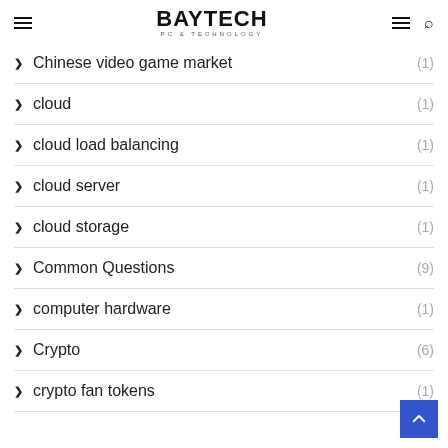BAYTECH PC & TECHNOLOGY
Chinese video game market (1)
cloud (1)
cloud load balancing (1)
cloud server (1)
cloud storage (1)
Common Questions (9)
computer hardware (1)
Crypto (6)
crypto fan tokens (1)